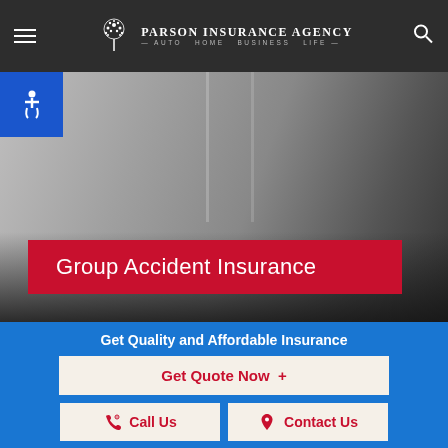Parson Insurance Agency — Auto Home Business Life
[Figure (screenshot): Hero image of a person in business attire with blurred grey background panels]
Group Accident Insurance
Get Quality and Affordable Insurance
Get Quote Now +
Call Us
Contact Us